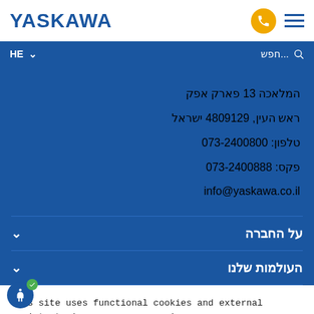YASKAWA
HE ∨   חפש... 🔍
המלאכה 13 פארק אפק
ראש העין, 4809129 ישראל
טלפון: 073-2400800
פקס: 073-2400888
info@yaskawa.co.il
על החברה
העולמות שלנו
This site uses functional cookies and external scripts to improve your experience
Accept All   Cookie Settings